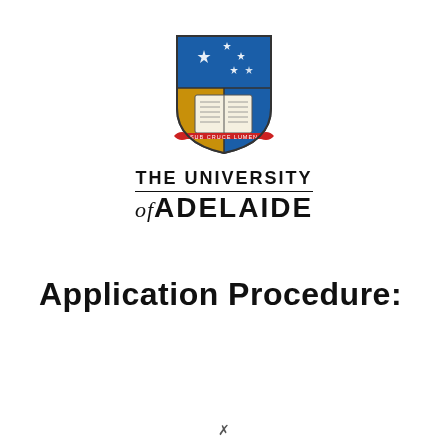[Figure (logo): University of Adelaide coat of arms / shield logo: blue top section with Southern Cross stars, gold/blue lower section with open book, red ribbon banner at base with text 'SUB CRUCE LUMEN']
THE UNIVERSITY of ADELAIDE
Application Procedure: